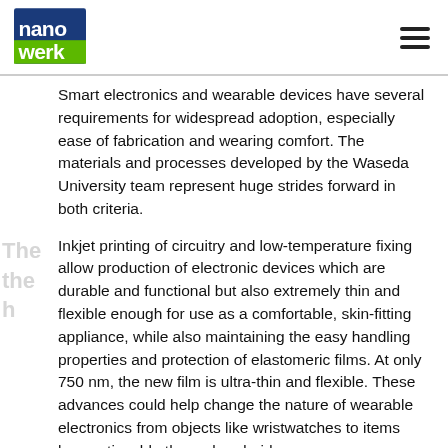nanowerk [logo] [hamburger menu]
Smart electronics and wearable devices have several requirements for widespread adoption, especially ease of fabrication and wearing comfort. The materials and processes developed by the Waseda University team represent huge strides forward in both criteria.
Inkjet printing of circuitry and low-temperature fixing allow production of electronic devices which are durable and functional but also extremely thin and flexible enough for use as a comfortable, skin-fitting appliance, while also maintaining the easy handling properties and protection of elastomeric films. At only 750 nm, the new film is ultra-thin and flexible. These advances could help change the nature of wearable electronics from objects like wristwatches to items less noticeable than a band-aid.
The Waseda team also established a method of joining electronic components without soldering, allowing thinner and more flexible elastomer films (SBS: polystyrene-polybutadiene-polystyrene).